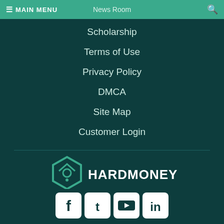MAIN MENU | News Room
Scholarship
Terms of Use
Privacy Policy
DMCA
Site Map
Customer Login
[Figure (logo): HardMoneyHome logo with green hexagon house icon and white HARDMONEYHOME text]
[Figure (infographic): Social media icons: Facebook, Twitter, YouTube, LinkedIn in white rounded squares]